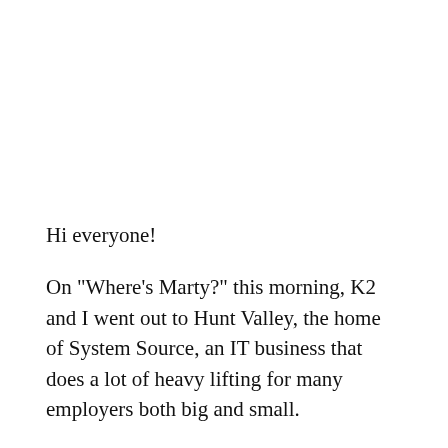Hi everyone!
On "Where's Marty?" this morning, K2 and I went out to Hunt Valley, the home of System Source, an IT business that does a lot of heavy lifting for many employers both big and small.
The company's office space is rather large and houses the System Source Computer Museum, a vast